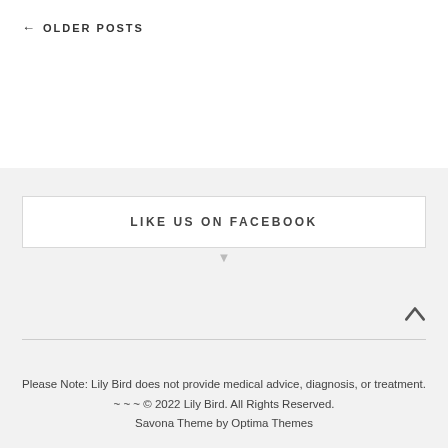← OLDER POSTS
LIKE US ON FACEBOOK
Please Note: Lily Bird does not provide medical advice, diagnosis, or treatment. ~ ~ ~ © 2022 Lily Bird. All Rights Reserved. Savona Theme by Optima Themes